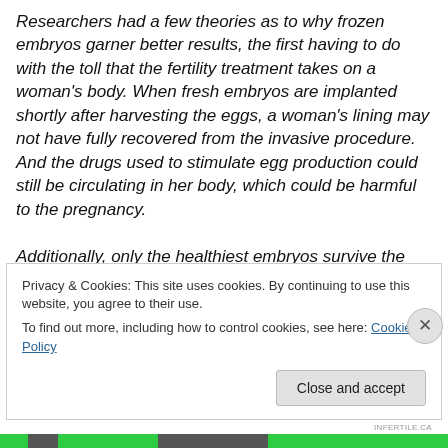Researchers had a few theories as to why frozen embryos garner better results, the first having to do with the toll that the fertility treatment takes on a woman's body. When fresh embryos are implanted shortly after harvesting the eggs, a woman's lining may not have fully recovered from the invasive procedure. And the drugs used to stimulate egg production could still be circulating in her body, which could be harmful to the pregnancy.

Additionally, only the healthiest embryos survive the freezing and thawing process. A hardier embryo could
Privacy & Cookies: This site uses cookies. By continuing to use this website, you agree to their use.
To find out more, including how to control cookies, see here: Cookie Policy